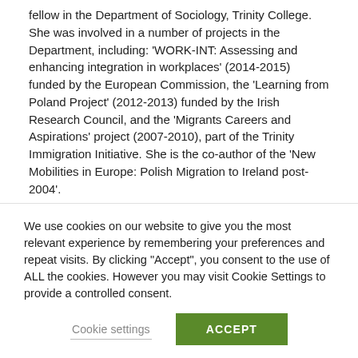fellow in the Department of Sociology, Trinity College. She was involved in a number of projects in the Department, including: 'WORK-INT: Assessing and enhancing integration in workplaces' (2014-2015) funded by the European Commission, the 'Learning from Poland Project' (2012-2013) funded by the Irish Research Council, and the 'Migrants Careers and Aspirations' project (2007-2010), part of the Trinity Immigration Initiative. She is the co-author of the 'New Mobilities in Europe: Polish Migration to Ireland post-2004'.
Geofin research:
Within the GEOFIN project Alicja's research was focused on the financialisation of households in Central and Eastern Europe.
We use cookies on our website to give you the most relevant experience by remembering your preferences and repeat visits. By clicking "Accept", you consent to the use of ALL the cookies. However you may visit Cookie Settings to provide a controlled consent.